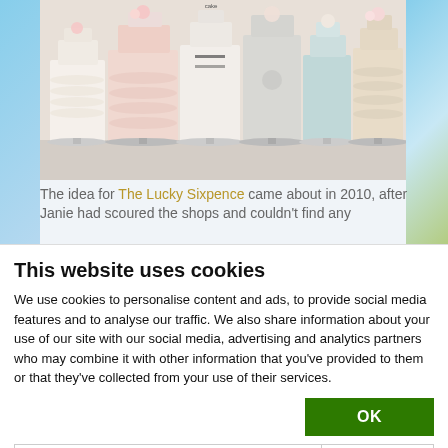[Figure (photo): Collection of elegant wedding cakes in white, pink, and champagne colors displayed together on a table]
The idea for The Lucky Sixpence came about in 2010, after Janie had scoured the shops and couldn't find any
This website uses cookies
We use cookies to personalise content and ads, to provide social media features and to analyse our traffic. We also share information about your use of our site with our social media, advertising and analytics partners who may combine it with other information that you've provided to them or that they've collected from your use of their services.
OK
Necessary  Preferences  Statistics  Marketing  Show details